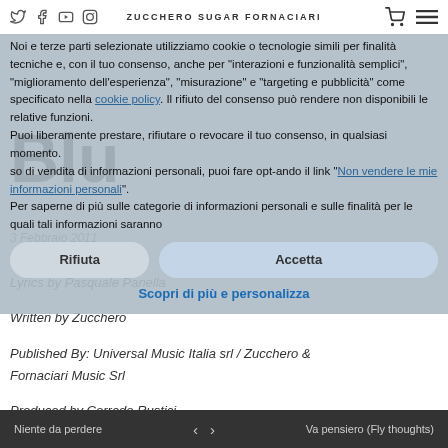ZUCCHERO SUGAR FORNACIARI
Noi e terze parti selezionate utilizziamo cookie o tecnologie simili per finalità tecniche e, con il tuo consenso, anche per "interazioni e funzionalità semplici", "miglioramento dell'esperienza", "misurazione" e "targeting e pubblicità" come specificato nella cookie policy. Il rifiuto del consenso può rendere non disponibili le relative funzioni.
Puoi liberamente prestare, rifiutare o revocare il tuo consenso, in qualsiasi momento.
so di vendita di informazioni personali, puoi fare opt-ando il link "Non vendere le mie informazioni personali".
Per saperne di più sulle categorie di informazioni personali e sulle finalità per le quali tali informazioni saranno
Blu
3 Febbraio 2011
Lyrics by Pasquale Panella
Written by Zucchero
Published By: Universal Music Italia srl / Zucchero & Fornaciari Music Srl
Produced by Corrado Rustici
Mixed by Devon Rietveld
Recording Arranged by Corrado Rustici
Niente da perdere   <   >   Va pensiero (Fly thoughts)